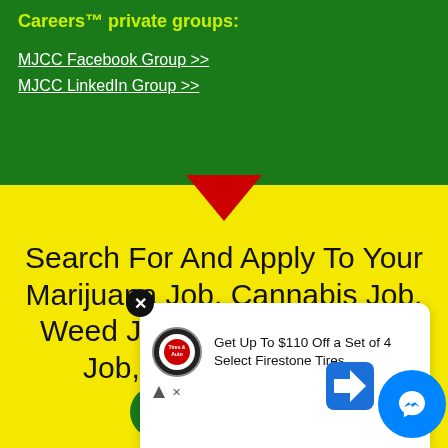Careers™ private groups:
MJCC Facebook Group >>
MJCC LinkedIn Group >>
Search For And Apply To Your Marijuana Job, Cannabis Job, Weed Job, Hemp Job, CBD Job, and 420 Career!
[Figure (screenshot): Advertisement overlay showing Firestone Tires offer: 'Get Up To $110 Off a Set of 4 Select Firestone Tires' with a close button, Firestone/Tires & Auto logo, blue navigation arrow sign, and Facebook Messenger circle button.]